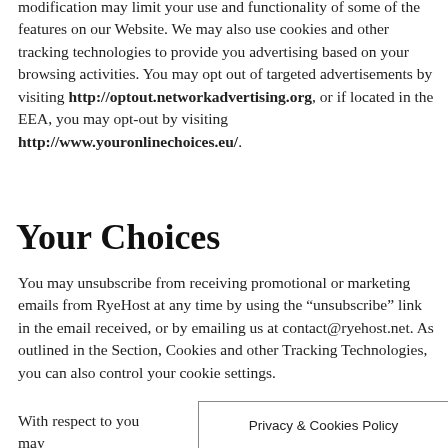modification may limit your use and functionality of some of the features on our Website. We may also use cookies and other tracking technologies to provide you advertising based on your browsing activities. You may opt out of targeted advertisements by visiting http://optout.networkadvertising.org, or if located in the EEA, you may opt-out by visiting http://www.youronlinechoices.eu/.
Your Choices
You may unsubscribe from receiving promotional or marketing emails from RyeHost at any time by using the “unsubscribe” link in the email received, or by emailing us at contact@ryehost.net. As outlined in the Section, Cookies and other Tracking Technologies, you can also control your cookie settings.
With respect to you may
Privacy & Cookies Policy